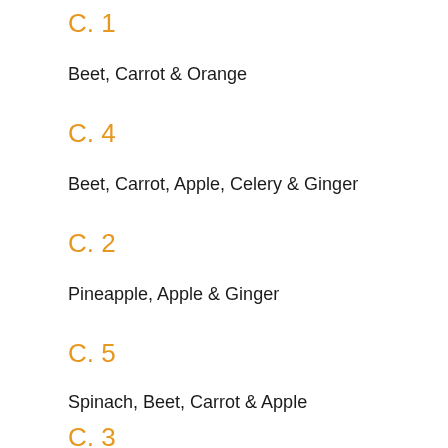C. 1
Beet, Carrot & Orange
C. 4
Beet, Carrot, Apple, Celery & Ginger
C. 2
Pineapple, Apple & Ginger
C. 5
Spinach, Beet, Carrot & Apple
C. 3